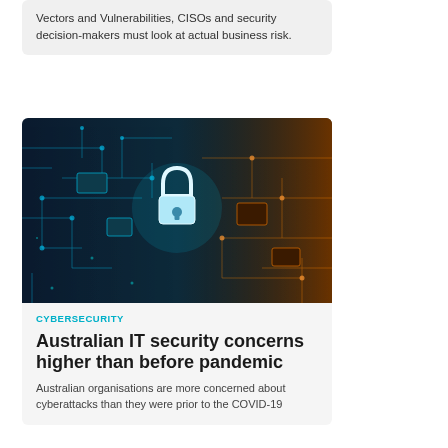Vectors and Vulnerabilities, CISOs and security decision-makers must look at actual business risk.
[Figure (photo): Close-up photo of a glowing circuit board with a padlock icon in the center, lit in blue and orange tones, representing cybersecurity.]
CYBERSECURITY
Australian IT security concerns higher than before pandemic
Australian organisations are more concerned about cyberattacks than they were prior to the COVID-19